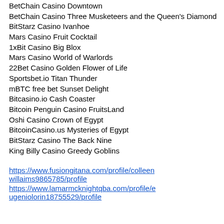BetChain Casino Downtown
BetChain Casino Three Musketeers and the Queen's Diamond
BitStarz Casino Ivanhoe
Mars Casino Fruit Cocktail
1xBit Casino Big Blox
Mars Casino World of Warlords
22Bet Casino Golden Flower of Life
Sportsbet.io Titan Thunder
mBTC free bet Sunset Delight
Bitcasino.io Cash Coaster
Bitcoin Penguin Casino FruitsLand
Oshi Casino Crown of Egypt
BitcoinCasino.us Mysteries of Egypt
BitStarz Casino The Back Nine
King Billy Casino Greedy Goblins
https://www.fusiongitana.com/profile/colleenwillaims9865785/profile
https://www.lamarmcknightqba.com/profile/eugeniolorin18755529/profile